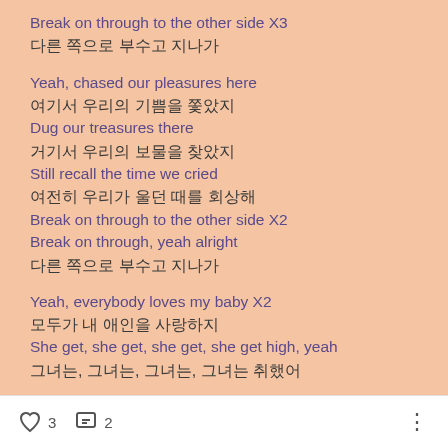Break on through to the other side X3
다른 쪽으로 부수고 지나가
Yeah, chased our pleasures here
여기서 우리의 기쁨을 쫓았지
Dug our treasures there
거기서 우리의 보물을 찾았지
Still recall the time we cried
여전히 우리가 울던 때를 회상해
Break on through to the other side X2
Break on through, yeah alright
다른 쪽으로 부수고 지나가
Yeah, everybody loves my baby X2
모두가 내 애인을 사랑하지
She get, she get, she get, she get high, yeah
그녀는, 그녀는, 그녀는, 그녀는 취했어
3   2